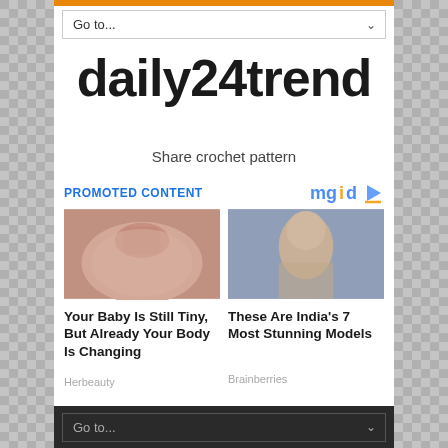Go to...
daily24trend
Share crochet pattern
PROMOTED CONTENT
[Figure (photo): Close-up photo of a finger pressing on skin — article thumbnail]
Your Baby Is Still Tiny, But Already Your Body Is Changing
Herbeauty
[Figure (photo): Portrait photo of a dark-haired woman — article thumbnail]
These Are India's 7 Most Stunning Models
Brainberries
Go to...